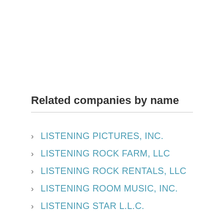Related companies by name
LISTENING PICTURES, INC.
LISTENING ROCK FARM, LLC
LISTENING ROCK RENTALS, LLC
LISTENING ROOM MUSIC, INC.
LISTENING STAR L.L.C.